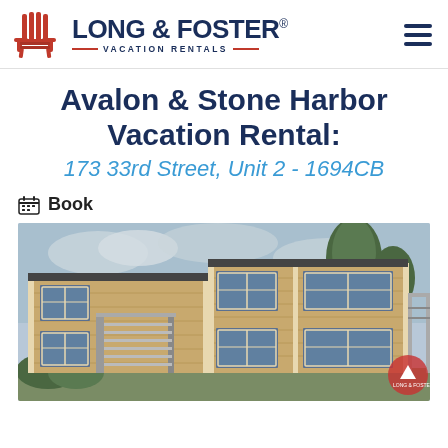Long & Foster Vacation Rentals
Avalon & Stone Harbor Vacation Rental:
173 33rd Street, Unit 2 - 1694CB
Book
[Figure (photo): Exterior photo of a two-story tan/beige wood-sided apartment building with metal stair railing, balconies, windows, and trees in background under cloudy sky.]